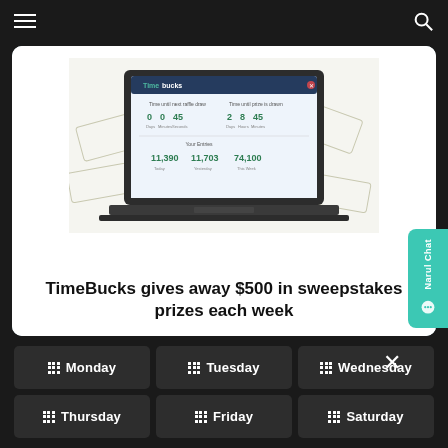Navigation bar with hamburger menu and search icon
[Figure (screenshot): Laptop screenshot showing TimeBucks dashboard with timer and entry counts]
TimeBucks gives away $500 in sweepstakes prizes each week
Monday
Tuesday
Wednesday
Thursday
Friday
Saturday